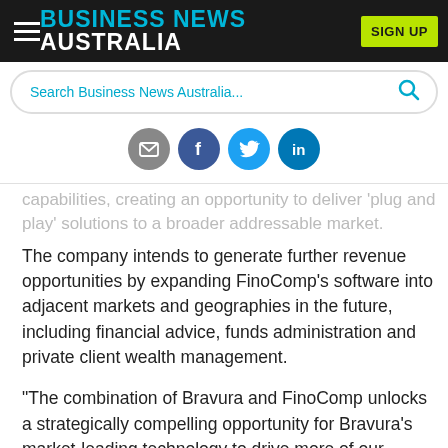BUSINESS NEWS AUSTRALIA
capabilities, creating an opportunity to deliver 'plug and play' solutions to a broader addressable market.
The company intends to generate further revenue opportunities by expanding FinoComp's software into adjacent markets and geographies in the future, including financial advice, funds administration and private client wealth management.
"The combination of Bravura and FinoComp unlocks a strategically compelling opportunity for Bravura's market-leading technology to drive more of our client's mission-critical operations," says Bravura CEO Tony Klim (pictured).
"Combined with FinoComp's cutting-edge technology, the